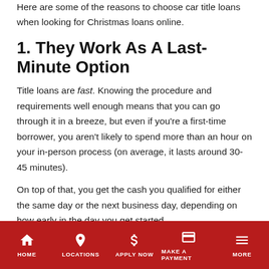Here are some of the reasons to choose car title loans when looking for Christmas loans online.
1. They Work As A Last-Minute Option
Title loans are fast. Knowing the procedure and requirements well enough means that you can go through it in a breeze, but even if you're a first-time borrower, you aren't likely to spend more than an hour on your in-person process (on average, it lasts around 30-45 minutes).
On top of that, you get the cash you qualified for either the same day or the next business day, depending on how early in the day you get started.
2. Getting Approved Isn't Complicated
HOME | LOCATIONS | APPLY NOW | MAKE A PAYMENT | MORE